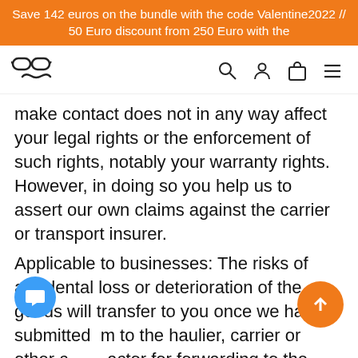Save 142 euros on the bundle with the code Valentine2022 // 50 Euro discount from 250 Euro with the
[Figure (screenshot): Website navigation bar with glasses/moustache logo and search, account, cart, and menu icons]
make contact does not in any way affect your legal rights or the enforcement of such rights, notably your warranty rights. However, in doing so you help us to assert our own claims against the carrier or transport insurer.
Applicable to businesses: The risks of accidental loss or deterioration of the goods will transfer to you once we have submitted them to the haulier, carrier or other contractor for forwarding to the defined person or establishment